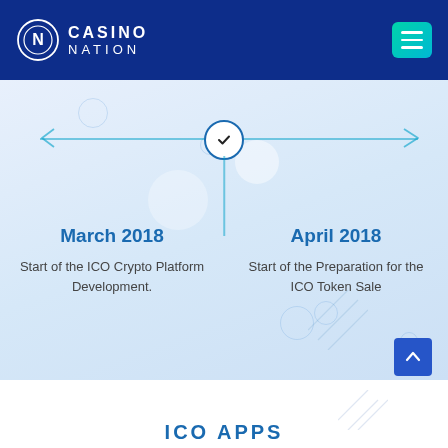[Figure (logo): Casino Nation logo with circular N emblem and white text on dark blue header background]
[Figure (infographic): Horizontal timeline with left and right arrows, a checkmark node in the center connecting vertically down. Left side: March 2018 - Start of the ICO Crypto Platform Development. Right side: April 2018 - Start of the Preparation for the ICO Token Sale.]
March 2018
Start of the ICO Crypto Platform Development.
April 2018
Start of the Preparation for the ICO Token Sale
ICO APPS